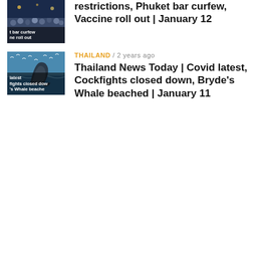[Figure (photo): Thumbnail image showing crowd with text overlay about bar curfew and roll out]
restrictions, Phuket bar curfew, Vaccine roll out | January 12
[Figure (photo): Thumbnail image showing a whale or dolphin leaping out of the sea with birds]
THAILAND / 2 years ago
Thailand News Today | Covid latest, Cockfights closed down, Bryde's Whale beached | January 11